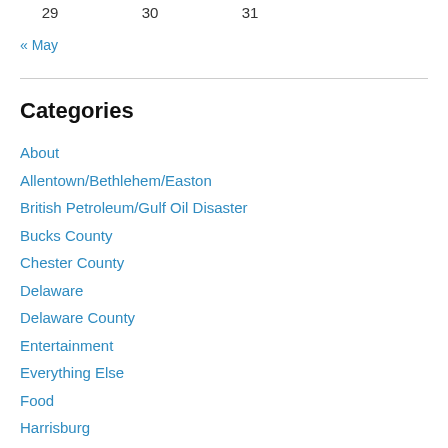29   30   31
« May
Categories
About
Allentown/Bethlehem/Easton
British Petroleum/Gulf Oil Disaster
Bucks County
Chester County
Delaware
Delaware County
Entertainment
Everything Else
Food
Harrisburg
Holidays
Humor
Lancaster